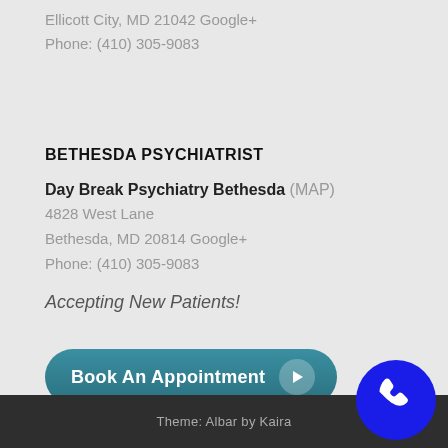Ellicott City, MD 21042 Google+
Phone: (410) 305-9083
BETHESDA PSYCHIATRIST
Day Break Psychiatry Bethesda (MAP)
4828 West Lane
Bethesda, MD 20814 Google+
Phone: (410) 305-9083
Accepting New Patients!
[Figure (other): Teal rounded button labeled 'Book An Appointment' with a white play/arrow circle icon on the right]
[Figure (other): Dark blue circular phone call widget in bottom right corner]
Theme: Albar by Kaira